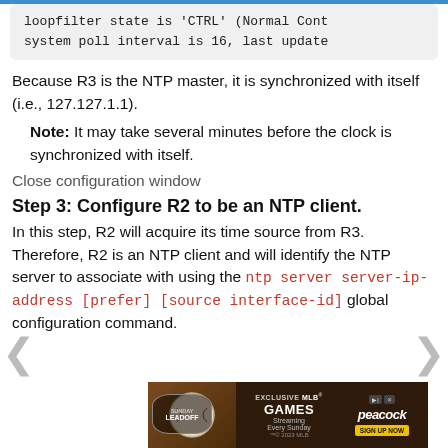loopfilter state is 'CTRL' (Normal Cont
system poll interval is 16, last update
Because R3 is the NTP master, it is synchronized with itself (i.e., 127.127.1.1).
Note: It may take several minutes before the clock is synchronized with itself.
Close configuration window
Step 3: Configure R2 to be an NTP client.
In this step, R2 will acquire its time source from R3. Therefore, R2 is an NTP client and will identify the NTP server to associate with using the ntp server server-ip-address [prefer] [source interface-id] global configuration command.
[Figure (other): Advertisement banner for exclusive MLB games on Peacock streaming service]